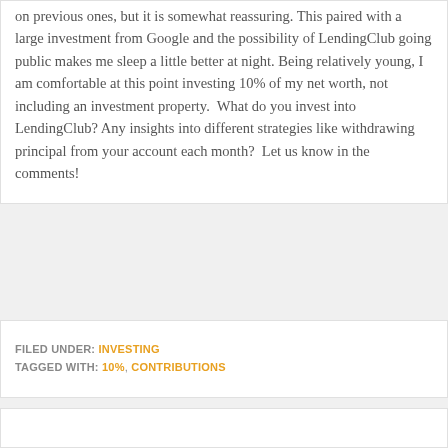on previous ones, but it is somewhat reassuring. This paired with a large investment from Google and the possibility of LendingClub going public makes me sleep a little better at night. Being relatively young, I am comfortable at this point investing 10% of my net worth, not including an investment property.  What do you invest into LendingClub? Any insights into different strategies like withdrawing principal from your account each month?  Let us know in the comments!
FILED UNDER: INVESTING
TAGGED WITH: 10%, CONTRIBUTIONS